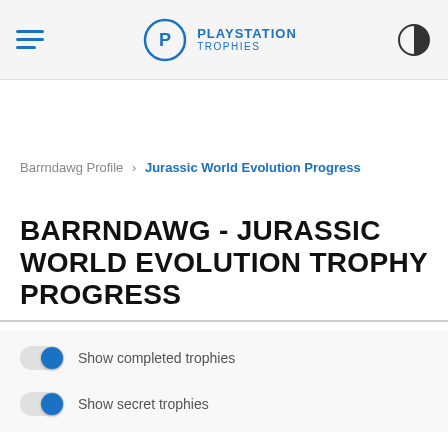PlayStation Trophies
Barrndawg Profile > Jurassic World Evolution Progress
BARRNDAWG - JURASSIC WORLD EVOLUTION TROPHY PROGRESS
Show completed trophies
Show secret trophies